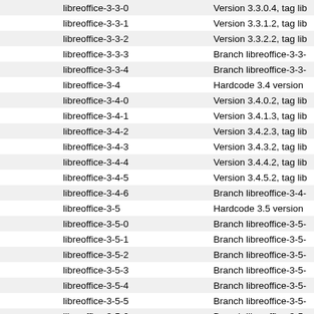| Tag | Description |
| --- | --- |
| libreoffice-3-3-0 | Version 3.3.0.4, tag lib |
| libreoffice-3-3-1 | Version 3.3.1.2, tag lib |
| libreoffice-3-3-2 | Version 3.3.2.2, tag lib |
| libreoffice-3-3-3 | Branch libreoffice-3-3- |
| libreoffice-3-3-4 | Branch libreoffice-3-3- |
| libreoffice-3-4 | Hardcode 3.4 version |
| libreoffice-3-4-0 | Version 3.4.0.2, tag lib |
| libreoffice-3-4-1 | Version 3.4.1.3, tag lib |
| libreoffice-3-4-2 | Version 3.4.2.3, tag lib |
| libreoffice-3-4-3 | Version 3.4.3.2, tag lib |
| libreoffice-3-4-4 | Version 3.4.4.2, tag lib |
| libreoffice-3-4-5 | Version 3.4.5.2, tag lib |
| libreoffice-3-4-6 | Branch libreoffice-3-4- |
| libreoffice-3-5 | Hardcode 3.5 version |
| libreoffice-3-5-0 | Branch libreoffice-3-5- |
| libreoffice-3-5-1 | Branch libreoffice-3-5- |
| libreoffice-3-5-2 | Branch libreoffice-3-5- |
| libreoffice-3-5-3 | Branch libreoffice-3-5- |
| libreoffice-3-5-4 | Branch libreoffice-3-5- |
| libreoffice-3-5-5 | Branch libreoffice-3-5- |
| libreoffice-3-5-6 | Branch libreoffice-3-5- |
| libreoffice-3-5-7 | Branch libreoffice-3-5- |
| libreoffice-3-6 | fdo#51074: Start table |
| libreoffice-3-6-0 | Branch libreoffice-3-6- |
| libreoffice-3-6-1 | Branch libreoffice-3-6- |